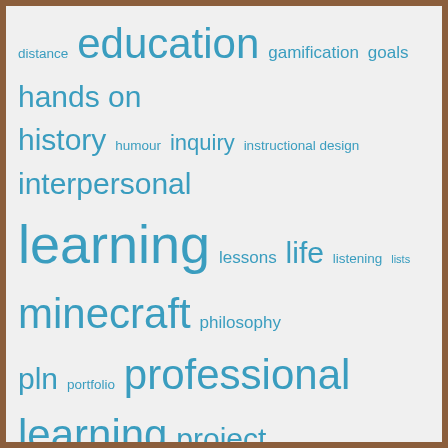[Figure (other): Tag cloud with education-related terms in varying font sizes, all in teal/blue color. Terms include: distance, education, gamification, goals, hands on, history, humour, inquiry, instructional design, interpersonal, learning, lessons, life, listening, lists, minecraft, philosophy, pln, portfolio, professional learning, project, project based learning, reflection, reform, science, social, social studies, stories, student engagement, students, teaching, technology, twitter, virtual leaning environment]
Categories
#GDPI (15)
#GWETL (16)
big ideas (39)
Research (14)
Gamification (5)